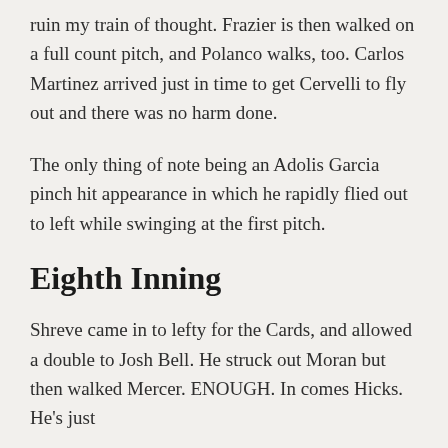ruin my train of thought. Frazier is then walked on a full count pitch, and Polanco walks, too. Carlos Martinez arrived just in time to get Cervelli to fly out and there was no harm done.
The only thing of note being an Adolis Garcia pinch hit appearance in which he rapidly flied out to left while swinging at the first pitch.
Eighth Inning
Shreve came in to lefty for the Cards, and allowed a double to Josh Bell. He struck out Moran but then walked Mercer. ENOUGH. In comes Hicks. He's just